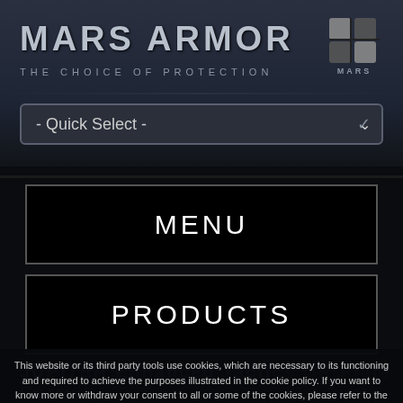[Figure (logo): Mars Armor logo with shield/helmet icon and MARS text below]
MARS ARMOR
THE CHOICE OF PROTECTION
- Quick Select -
MENU
PRODUCTS
JUPITER Enhanced Tactical OR Plate Carrier
4 Plate Carriers
This website or its third party tools use cookies, which are necessary to its functioning and required to achieve the purposes illustrated in the cookie policy. If you want to know more or withdraw your consent to all or some of the cookies, please refer to the cookie policy. By closing this banner, scrolling this page, clicking a link or continuing to browse otherwise, you agree to the use of cookies.
Close